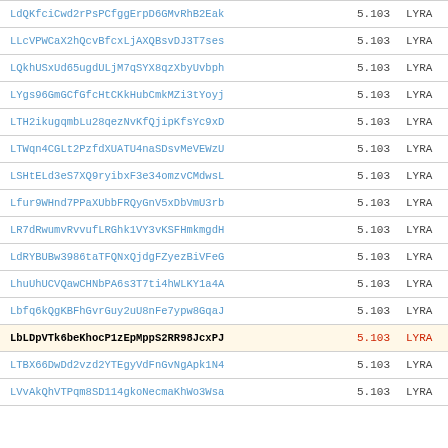| Hash | Score | Label |
| --- | --- | --- |
| LdQKfciCwd2rPsPCfggErpD6GMvRhB2Eak | 5.103 | LYRA |
| LLcVPWCaX2hQcvBfcxLjAXQBsvDJ3T7ses | 5.103 | LYRA |
| LQkhUSxUd65ugdULjM7qSYX8qzXbyUvbph | 5.103 | LYRA |
| LYgs96GmGCfGfcHtCKkHubCmkMZi3tYoyj | 5.103 | LYRA |
| LTH2ikugqmbLu28qezNvKfQjipKfsYc9xD | 5.103 | LYRA |
| LTWqn4CGLt2PzfdXUATU4naSDsvMeVEWzU | 5.103 | LYRA |
| LSHtELd3eS7XQ9ryibxF3e34omzvCMdwsL | 5.103 | LYRA |
| Lfur9WHnd7PPaXUbbFRQyGnV5xDbVmU3rb | 5.103 | LYRA |
| LR7dRwumvRvvufLRGhk1VY3vKSFHmkmgdH | 5.103 | LYRA |
| LdRYBUBw3986taTFQNxQjdgFZyezBiVFeG | 5.103 | LYRA |
| LhuUhUCVQawCHNbPA6s3T7ti4hWLKY1a4A | 5.103 | LYRA |
| Lbfq6kQgKBFhGvrGuy2uU8nFe7ypw8GqaJ | 5.103 | LYRA |
| LbLDpVTk6beKhocP1zEpMppS2RR98JcxPJ | 5.103 | LYRA |
| LTBX66DwDd2vzd2YTEgyVdFnGvNgApk1N4 | 5.103 | LYRA |
| LVvAkQhVTPqm8SD114gkoNecmaKhWo3Wsa | 5.103 | LYRA |